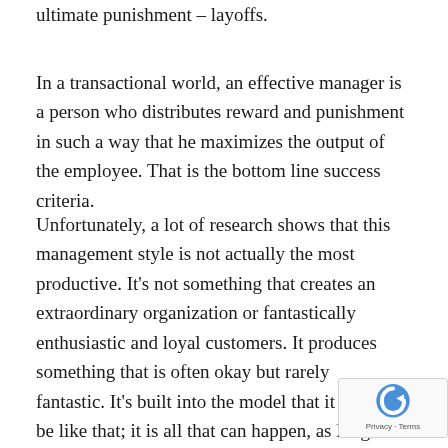ultimate punishment – layoffs.
In a transactional world, an effective manager is a person who distributes reward and punishment in such a way that he maximizes the output of the employee. That is the bottom line success criteria.
Unfortunately, a lot of research shows that this management style is not actually the most productive. It's not something that creates an extraordinary organization or fantastically enthusiastic and loyal customers. It produces something that is often okay but rarely fantastic. It's built into the model that it has to be like that; it is all that can happen, as long as we h… that mindset.